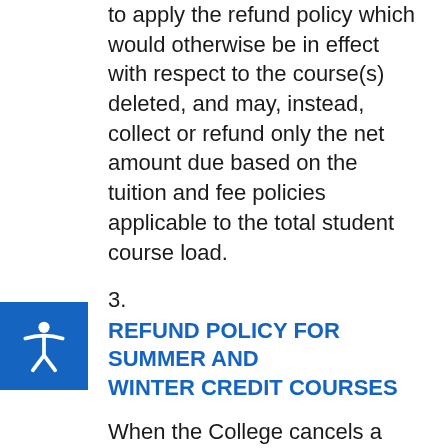to apply the refund policy which would otherwise be in effect with respect to the course(s) deleted, and may, instead, collect or refund only the net amount due based on the tuition and fee policies applicable to the total student course load.
3.
REFUND POLICY FOR SUMMER AND WINTER CREDIT COURSES
When the College cancels a course, the student has the option of transferring into another course within the same semester, or requesting a refund . Refunds are issued within 4 to 6 weeks . When a student drops a course by the last regular business day of the college before the